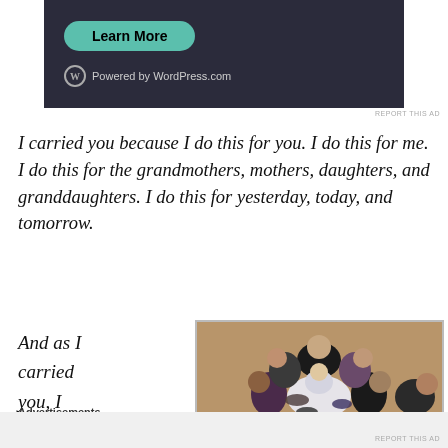[Figure (screenshot): WordPress.com advertisement banner with teal 'Learn More' button and WordPress logo on dark background]
REPORT THIS AD
I carried you because I do this for you. I do this for me. I do this for the grandmothers, mothers, daughters, and granddaughters. I do this for yesterday, today, and tomorrow.
And as I carried you, I
[Figure (photo): Overhead view of people in a huddle or group embrace, seen from above, with a person in white in the center]
Advertisements
REPORT THIS AD